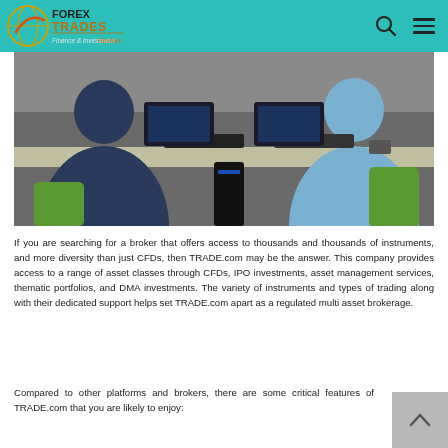FOREX TRADES Finance & Investment
[Figure (photo): Two traders sitting at a desk with monitors, keyboards and computers in an office trading environment, viewed from behind.]
If you are searching for a broker that offers access to thousands and thousands of instruments, and more diversity than just CFDs, then TRADE.com may be the answer. This company provides access to a range of asset classes through CFDs, IPO investments, asset management services, thematic portfolios, and DMA investments. The variety of instruments and types of trading along with their dedicated support helps set TRADE.com apart as a regulated multi asset brokerage.
Compared to other platforms and brokers, there are some critical features of TRADE.com that you are likely to enjoy: